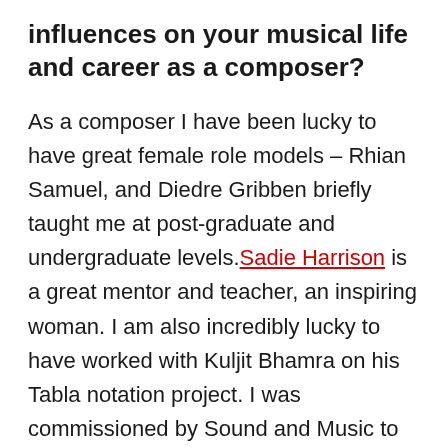influences on your musical life and career as a composer?
As a composer I have been lucky to have great female role models – Rhian Samuel, and Diedre Gribben briefly taught me at post-graduate and undergraduate levels. Sadie Harrison is a great mentor and teacher, an inspiring woman. I am also incredibly lucky to have worked with Kuljit Bhamra on his Tabla notation project. I was commissioned by Sound and Music to learn a new notation system for Tabla and compose new work for Kuljit, Anne Denholm and Joe Richards,